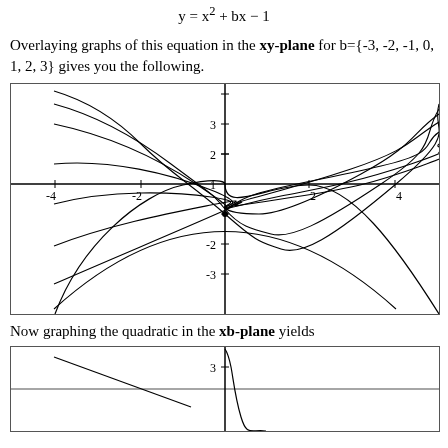Overlaying graphs of this equation in the xy-plane for b={-3, -2, -1, 0, 1, 2, 3} gives you the following.
[Figure (continuous-plot): Overlaid parabolas y = x^2 + bx - 1 for b = -3, -2, -1, 0, 1, 2, 3 in the xy-plane. All seven parabolas pass through the common point (0, -1). The parabolas shift left and right depending on b.]
Now graphing the quadratic in the xb-plane yields
[Figure (continuous-plot): Graph of the quadratic in the xb-plane. Shows a hyperbola-like curve. Vertical axis labeled 3 is visible. A nearly vertical curve appears near x=0.]